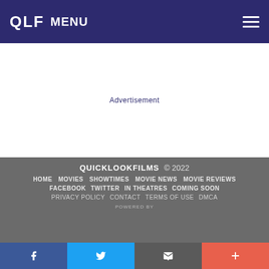QLF MENU
Advertisement
QUICKLOOKFILMS © 2022 HOME MOVIES SHOWTIMES MOVIE NEWS MOVIE REVIEWS FACEBOOK TWITTER IN THEATRES COMING SOON Privacy Policy Contact Terms of Use DMCA POWERED BY
[Figure (other): Social sharing bar with Facebook, Twitter, Email, and Plus buttons]